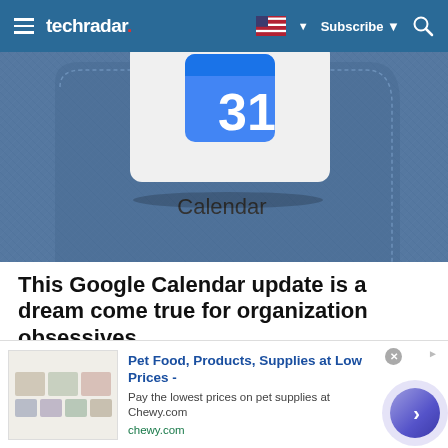techradar | Subscribe
[Figure (photo): Phone with Google Calendar app in a denim jeans pocket, showing calendar icon with '31']
This Google Calendar update is a dream come true for organization obsessives
Google Calendar can now organize Time Insights by custom categories and color schemes.
TechRadar
[Figure (photo): Partial image of a person, partially visible at bottom of page]
Pet Food, Products, Supplies at Low Prices - Pay the lowest prices on pet supplies at Chewy.com chewy.com